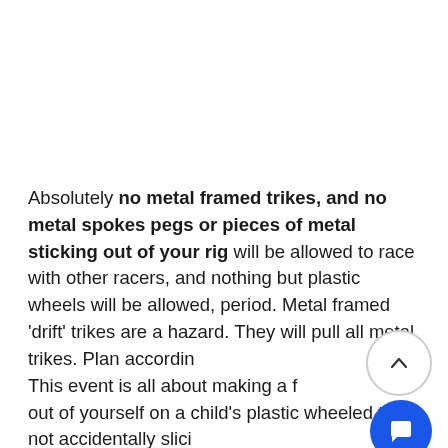Absolutely no metal framed trikes, and no metal spokes pegs or pieces of metal sticking out of your rig will be allowed to race with other racers, and nothing but plastic wheels will be allowed, period. Metal framed 'drift' trikes are a hazard. They will pull all metal trikes. Plan accordingly. This event is all about making a fool out of yourself on a child's plastic wheeled toy, not accidentally slicing or impaling your fellow riders. BE RESPECTFUL IF YOU PLAN ON ATTENDING — This event can get